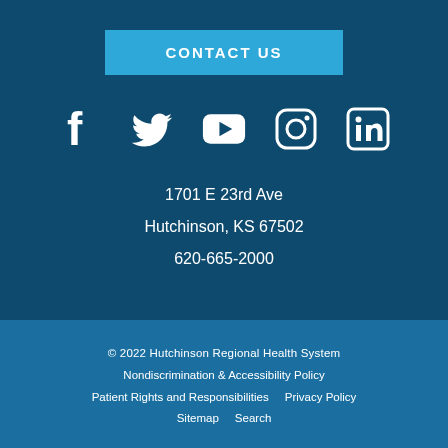CONTACT US
[Figure (infographic): Social media icons: Facebook, Twitter, YouTube, Instagram, LinkedIn]
1701 E 23rd Ave
Hutchinson, KS 67502
620-665-2000
© 2022 Hutchinson Regional Health System
Nondiscrimination & Accessibility Policy
Patient Rights and Responsibilities    Privacy Policy
Sitemap    Search